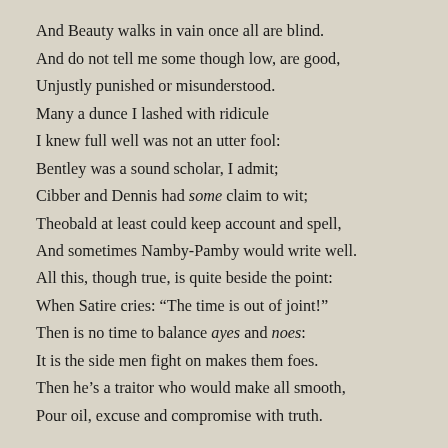And Beauty walks in vain once all are blind.
And do not tell me some though low, are good,
Unjustly punished or misunderstood.
Many a dunce I lashed with ridicule
I knew full well was not an utter fool:
Bentley was a sound scholar, I admit;
Cibber and Dennis had some claim to wit;
Theobald at least could keep account and spell,
And sometimes Namby-Pamby would write well.
All this, though true, is quite beside the point:
When Satire cries: “The time is out of joint!”
Then is no time to balance ayes and noes:
It is the side men fight on makes them foes.
Then he’s a traitor who would make all smooth,
Pour oil, excuse and compromise with truth.